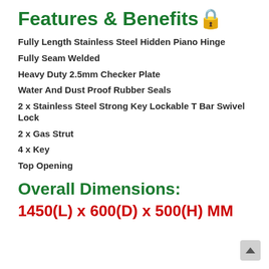Features & Benefits🔒
Fully Length Stainless Steel Hidden Piano Hinge
Fully Seam Welded
Heavy Duty 2.5mm Checker Plate
Water And Dust Proof Rubber Seals
2 x Stainless Steel Strong Key Lockable T Bar Swivel Lock
2 x Gas Strut
4 x Key
Top Opening
Overall Dimensions:
1450(L) x 600(D) x 500(H) MM